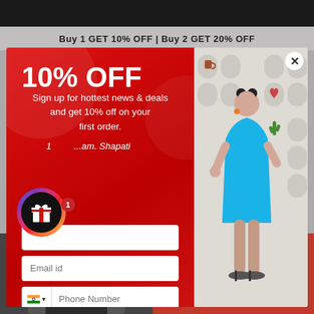Buy 1 GET 10% OFF | Buy 2 GET 20% OFF
10% OFF
Sign up for hottest news & deals and get 10% off on your first order.
1 ...am. Shapati
Phone Number
Get My Discount Code
[Figure (photo): Woman in blue kaftan dress standing and smiling, with decorative wall niches in background]
[Figure (photo): Woman with sunglasses, partial view at bottom left]
We want to build a future of sustainability, with freedom of